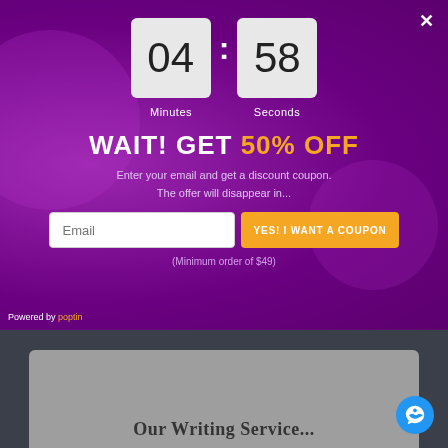[Figure (screenshot): Popup modal with purple background showing countdown timer at 04:58, 50% OFF promotion, email input field, and coupon button. Below the modal is a dark website header with a gray card showing partial text.]
04
58
Minutes
Seconds
WAIT! GET 50% OFF
Enter your email and get a discount coupon. The offer will disappear in...
Email
YES! I WANT A COUPON
(Minimum order of $49)
Powered by poptin
Our Writing Service...